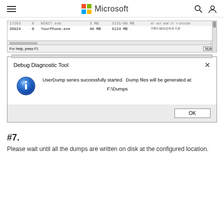Microsoft
[Figure (screenshot): Windows process list showing rows including '39824 0 YourPhone.exe 48 MB 5124 MB' with a horizontal scrollbar and status bar showing 'For Help, press F1' and 'NUM']
[Figure (screenshot): Debug Diagnostic Tool dialog box with info icon and message: 'UserDump series successfully started. Dump files will be generated at: F:\Dumps' with an OK button]
#7.
Please wait until all the dumps are written on disk at the configured location.